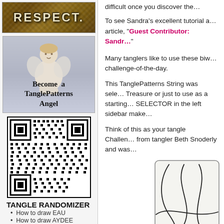[Figure (photo): RESPECT sign with textured stone/mosaic background]
[Figure (photo): Cherub angel statue with text 'Become a TanglePatterns Angel']
[Figure (other): QR code image]
TANGLE RANDOMIZER
How to draw EAU
How to draw AYDEE
difficult once you discover the...
To see Sandra's excellent tutorial a... article, "Guest Contributor: Sandr..."
Many tanglers like to use these biw... challenge-of-the-day.
This TanglePatterns String was sele... Treasure or just to use as a starting... SELECTOR in the left sidebar make...
Think of this as your tangle Challen... from tangler Beth Snoderly and was...
[Figure (illustration): Tangle string pattern in a rounded rectangle frame with curved lines]